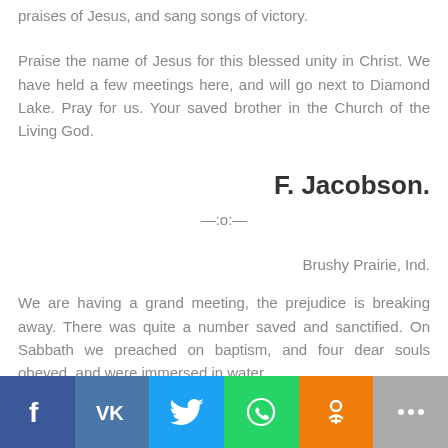praises of Jesus, and sang songs of victory.
Praise the name of Jesus for this blessed unity in Christ. We have held a few meetings here, and will go next to Diamond Lake. Pray for us. Your saved brother in the Church of the Living God.
F. Jacobson.
—:o:—
Brushy Prairie, Ind.
We are having a grand meeting, the prejudice is breaking away. There was quite a number saved and sanctified. On Sabbath we preached on baptism, and four dear souls obeyed, and were immersed in water.